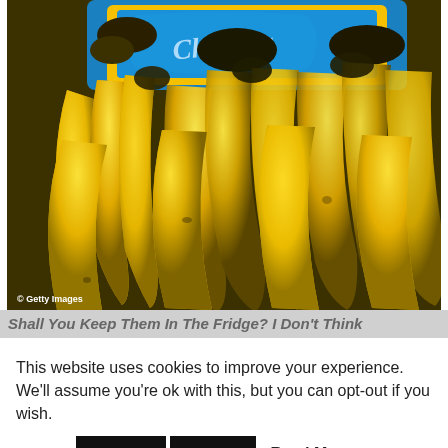[Figure (photo): Close-up photograph of multiple bunches of yellow bananas displayed at a market or store, with a blue and yellow Chiquita brand sign visible in the background. A Getty Images watermark appears in the lower left corner of the photo.]
Shall You Keep Them In The Fridge? I Don't Think
This website uses cookies to improve your experience. We'll assume you're ok with this, but you can opt-out if you wish.
Accept  Reject  Read More